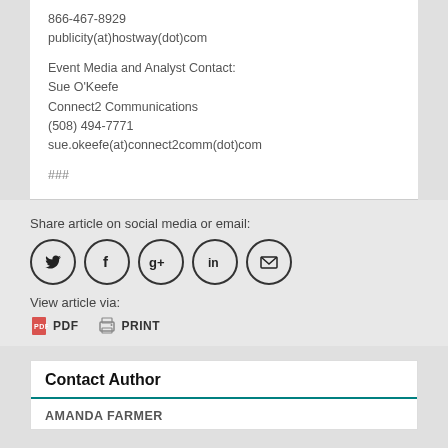866-467-8929
publicity(at)hostway(dot)com

Event Media and Analyst Contact:
Sue O'Keefe
Connect2 Communications
(508) 494-7771
sue.okeefe(at)connect2comm(dot)com

###
Share article on social media or email:
[Figure (infographic): Five social media share icons in circles: Twitter (bird), Facebook (f), Google+ (g+), LinkedIn (in), Email (envelope)]
View article via:
[Figure (infographic): PDF icon (red) with text PDF, and printer icon with text PRINT]
Contact Author
AMANDA FARMER